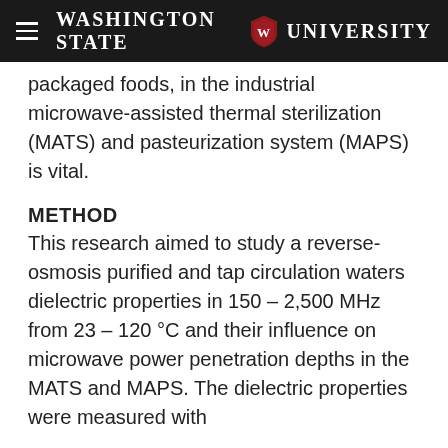Washington State University
packaged foods, in the industrial microwave-assisted thermal sterilization (MATS) and pasteurization system (MAPS) is vital.
METHOD
This research aimed to study a reverse-osmosis purified and tap circulation waters dielectric properties in 150 – 2,500 MHz from 23 – 120 °C and their influence on microwave power penetration depths in the MATS and MAPS. The dielectric properties were measured with